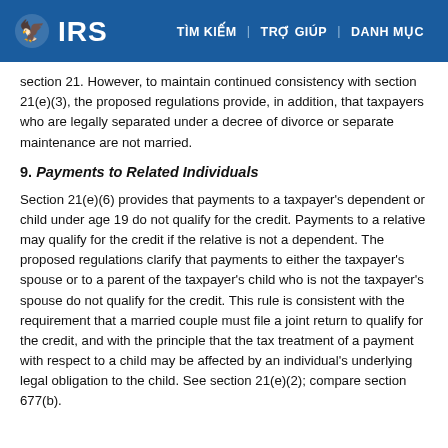IRS | TÌM KIẾM | TRỢ GIÚP | DANH MỤC
section 21. However, to maintain continued consistency with section 21(e)(3), the proposed regulations provide, in addition, that taxpayers who are legally separated under a decree of divorce or separate maintenance are not married.
9. Payments to Related Individuals
Section 21(e)(6) provides that payments to a taxpayer's dependent or child under age 19 do not qualify for the credit. Payments to a relative may qualify for the credit if the relative is not a dependent. The proposed regulations clarify that payments to either the taxpayer's spouse or to a parent of the taxpayer's child who is not the taxpayer's spouse do not qualify for the credit. This rule is consistent with the requirement that a married couple must file a joint return to qualify for the credit, and with the principle that the tax treatment of a payment with respect to a child may be affected by an individual's underlying legal obligation to the child. See section 21(e)(2); compare section 677(b).